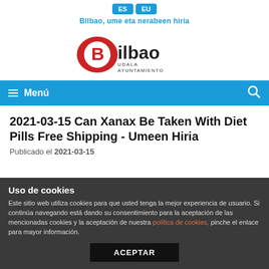[Figure (logo): Bilbao city language selector buttons: ES and EU in blue rounded rectangles, with tagline 'Bilbao, ume eta nerabeen hiria' in blue below]
[Figure (logo): Bilbao Udala Ayuntamiento logo: red oval with white B, 'ilbao' in dark text, UDALA AYUNTAMIENTO below]
Menú
2021-03-15 Can Xanax Be Taken With Diet Pills Free Shipping - Umeen Hiria
Publicado el 2021-03-15
Uso de cookies
Este sitio web utiliza cookies para que usted tenga la mejor experiencia de usuario. Si continúa navegando está dando su consentimiento para la aceptación de las mencionadas cookies y la aceptación de nuestra política de cookies, pinche el enlace para mayor información.
ACEPTAR